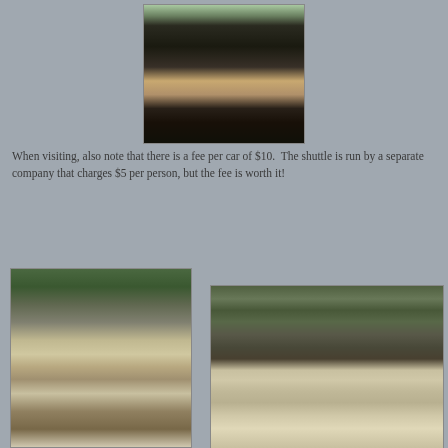[Figure (photo): A narrow gorge canyon with hikers walking along a wet path between tall dark rock walls, green foliage visible at the top]
When visiting, also note that there is a fee per car of $10.  The shuttle is run by a separate company that charges $5 per person, but the fee is worth it!
[Figure (photo): A waterfall cascading over rocks in a forested gorge with green vegetation around]
[Figure (photo): A wide waterfall flowing over layered rock ledges with green mossy rocks and lush vegetation in the background]